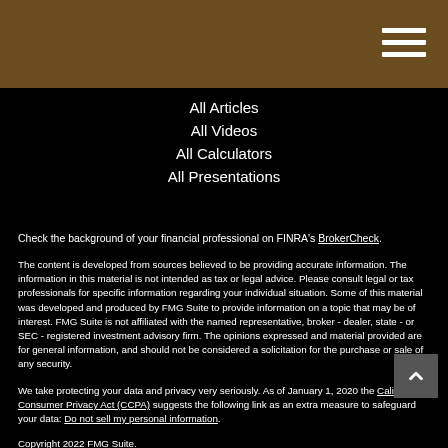All Articles
All Videos
All Calculators
All Presentations
Check the background of your financial professional on FINRA's BrokerCheck.
The content is developed from sources believed to be providing accurate information. The information in this material is not intended as tax or legal advice. Please consult legal or tax professionals for specific information regarding your individual situation. Some of this material was developed and produced by FMG Suite to provide information on a topic that may be of interest. FMG Suite is not affiliated with the named representative, broker - dealer, state - or SEC - registered investment advisory firm. The opinions expressed and material provided are for general information, and should not be considered a solicitation for the purchase or sale of any security.
We take protecting your data and privacy very seriously. As of January 1, 2020 the California Consumer Privacy Act (CCPA) suggests the following link as an extra measure to safeguard your data: Do not sell my personal information.
Copyright 2022 FMG Suite.
This information is designed to provide a general overview with regard to the subject matter covered and is not state specific. The authors, publisher and host are not